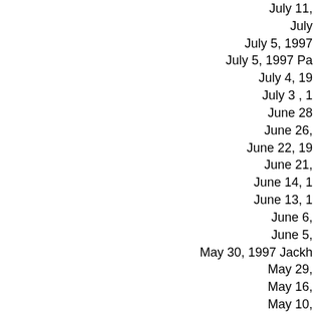July 11,
July
July 5, 1997
July 5, 1997 Pa
July 4, 19
July 3 , 1
June 28
June 26,
June 22, 19
June 21,
June 14, 1
June 13, 1
June 6,
June 5,
May 30, 1997 Jackh
May 29,
May 16,
May 10,
May 9, 19
May 8,
May 3, 19
May 2, 1997
May 1,